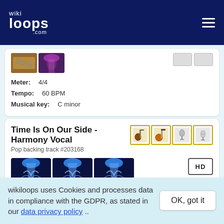wikiloops.com
[Figure (screenshot): Partial music track card showing two thumbnail images, two gray buttons, Meter: 4/4, Tempo: 60 BPM, Musical key: C minor]
Time Is On Our Side - Harmony Vocal
Pop backing track #203168
[Figure (photo): Three blue concert/music spotlight thumbnails side by side, with HD badge and four instrument icons (guitar, bass guitar, microphone, condenser mic)]
Meter: 4/4
Tempo: 122 BPM
Musical key: A major
wikiloops uses Cookies and processes data in compliance with the GDPR, as stated in our data privacy policy ..